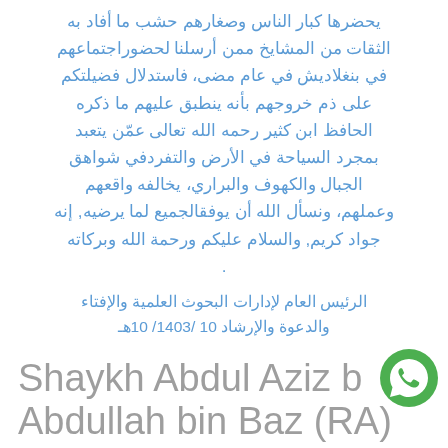يحضرها كبار الناس وصغارهم حشب ما أفاد به الثقات من المشايخ ممن أرسلنا لحضوراجتماعهم في بنغلاديش في عام مضى، فاستدلال فضيلتكم على ذم خروجهم بأنه ينطبق عليهم ما ذكره الحافظ ابن كثير رحمه الله تعالى عمّن يتعبد بمجرد السياحة في الأرض والتفردفي شواهق الجبال والكهوف والبراري، يخالفه واقعهم وعملهم، ونسأل الله أن يوفقالجميع لما يرضيه, إنه جواد كريم, والسلام عليكم ورحمة الله وبركاته .
الرئيس العام لإدارات البحوث العلمية والإفتاء والدعوة والإرشاد 10 /1403/ 10هـ
Shaykh Abdul Aziz b Abdullah bin Baz (RA)